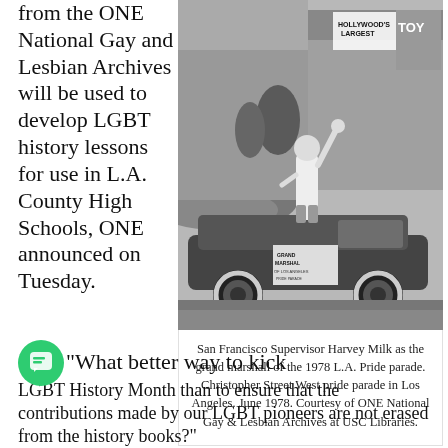from the ONE National Gay and Lesbian Archives will be used to develop LGBT history lessons for use in L.A. County High Schools, ONE announced on Tuesday.
[Figure (photo): Black and white photograph of San Francisco Supervisor Harvey Milk standing in a convertible car as grand marshal of the 1978 L.A. Pride parade, with a crowd lining the street behind him and storefronts including a Hollywood's Largest toy store in the background.]
San Francisco Supervisor Harvey Milk as the grand marshall of the 1978 L.A. Pride parade. Christopher Street West pride parade in Los Angeles. June 1978. Courtesy of ONE National Gay & Lesbian Archives at USC Libraries.
“What better way to kick LGBT History Month than to ensure that the contributions made by our LGBT pioneers are not erased from the history books?”